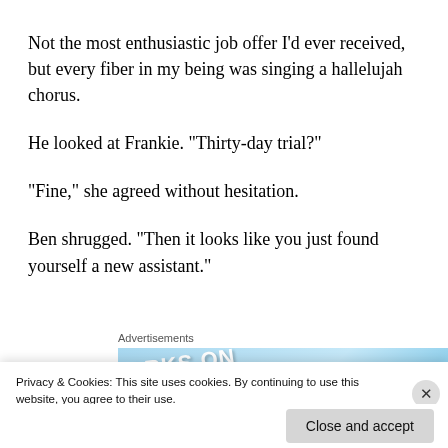Not the most enthusiastic job offer I’d ever received, but every fiber in my being was singing a hallelujah chorus.
He looked at Frankie. “Thirty-day trial?”
“Fine,” she agreed without hesitation.
Ben shrugged. “Then it looks like you just found yourself a new assistant.”
Advertisements
[Figure (other): Partial advertisement banner showing text 'ORKS ON' and '$20.99' in purple on a light blue background]
Privacy & Cookies: This site uses cookies. By continuing to use this website, you agree to their use.
To find out more, including how to control cookies, see here: Cookie Policy
Close and accept